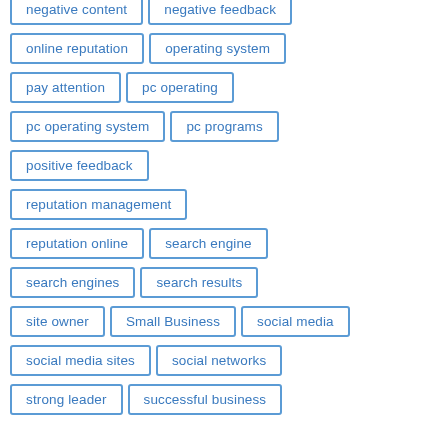negative content
negative feedback
online reputation
operating system
pay attention
pc operating
pc operating system
pc programs
positive feedback
reputation management
reputation online
search engine
search engines
search results
site owner
Small Business
social media
social media sites
social networks
strong leader
successful business